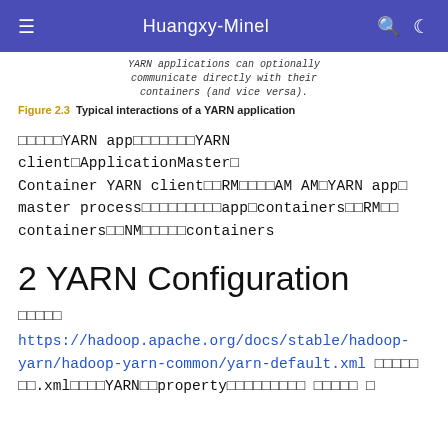Huangxy-Minel
YARN applications can optionally communicate directly with their containers (and vice versa).
Figure 2.3   Typical interactions of a YARN application
□□□□□YARN app□□□□□□□YARN client□ApplicationMaster□Container YARN client□□RM□□□□AM AM□YARN app□master process□□□□□□□□□app□containers□□RM□□containers□□NM□□□□□containers
2 YARN Configuration
□□□□□
https://hadoop.apache.org/docs/stable/hadoop-yarn/hadoop-yarn-common/yarn-default.xml □□□□□□□.xml□□□□YARN□□property□□□□□□□□□ □□□□□ □